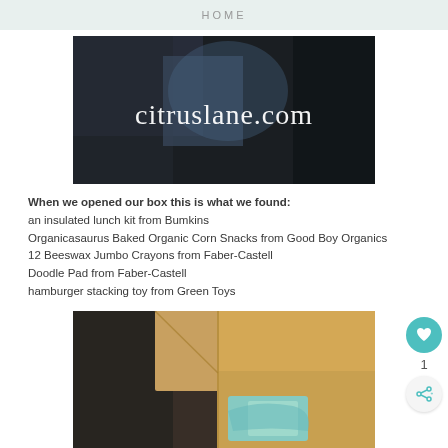HOME
[Figure (photo): Dark background image with citruslane.com text overlay in white serif font]
When we opened our box this is what we found: an insulated lunch kit from Bumkins Organicasaurus Baked Organic Corn Snacks from Good Boy Organics 12 Beeswax Jumbo Crayons from Faber-Castell Doodle Pad from Faber-Castell hamburger stacking toy from Green Toys
[Figure (photo): Open brown cardboard box on dark background with colorful items visible inside]